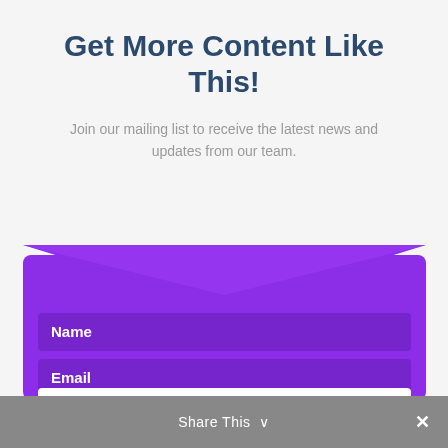Get More Content Like This!
Join our mailing list to receive the latest news and updates from our team.
[Figure (illustration): Purple envelope form widget with Name and Email input fields and a Sign Me Up button on a purple background with envelope flap design]
Share This ∨ ×